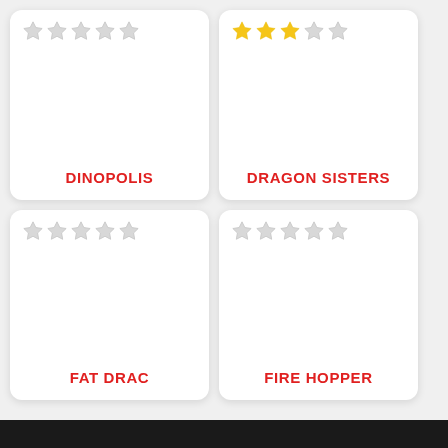[Figure (other): Card with 5 empty grey stars and title DINOPOLIS in red]
[Figure (other): Card with 3 gold stars and 2 grey stars and title DRAGON SISTERS in red]
[Figure (other): Card with 5 empty grey stars and title FAT DRAC in red]
[Figure (other): Card with 5 empty grey stars and title FIRE HOPPER in red]